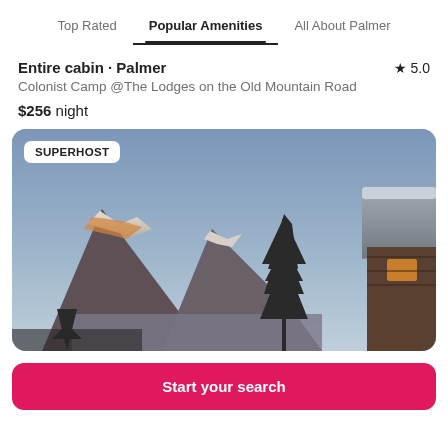Top Rated | Popular Amenities | All About Palmer
Entire cabin · Palmer ★ 5.0
Colonist Camp @The Lodges on the Old Mountain Road
$256 night
[Figure (photo): Outdoor photo of a mountain cabin scene at dusk/dawn. Snow-capped mountains with orange alpenglow on the left, a tall pine tree silhouette in the center, and the roofline of a log cabin on the right. A 'SUPERHOST' badge is overlaid in the upper left corner. Sky is blue-grey.]
Start your search